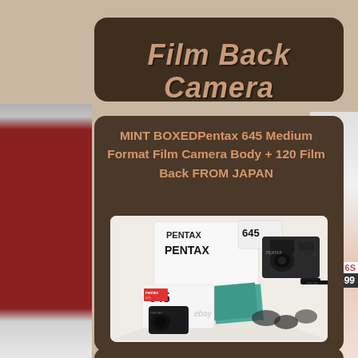Film Back Camera
MINT BOXEDPentax 645 Medium Format Film Camera Body + 120 Film Back FROM JAPAN
[Figure (photo): Pentax 645 medium format film camera with box, accessories, and manuals displayed in a white studio box. Includes camera body, film back, manual, and other components. eBay watermark visible.]
6S
699